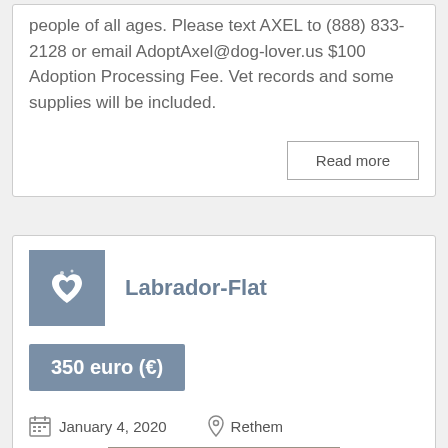people of all ages. Please text AXEL to (888) 833-2128 or email AdoptAxel@dog-lover.us $100 Adoption Processing Fee. Vet records and some supplies will be included.
Read more
Labrador-Flat
350 euro (€)
January 4, 2020
Rethem
[Figure (photo): A black Labrador-Flat dog photographed outdoors on sandy ground, wearing a red collar/leash.]